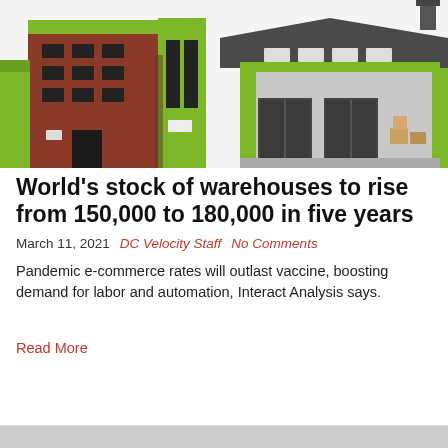[Figure (illustration): Flat illustration of warehouse and industrial buildings in brown, green, and gray colors with windows and loading dock doors]
World's stock of warehouses to rise from 150,000 to 180,000 in five years
March 11, 2021   DC Velocity Staff   No Comments
Pandemic e-commerce rates will outlast vaccine, boosting demand for labor and automation, Interact Analysis says.
Read More